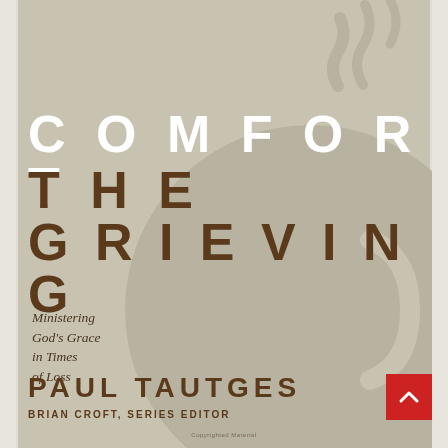[Figure (illustration): Book cover for 'Comfort the Grieving' by Paul Tautges. Background is a warm tan/beige color with a large stylized mug illustration in a slightly darker tan shade. Steam wisps rise from the top right. The title 'COMFORT' appears in large white spaced letters, 'THE GRIEVING' in large dark brown spaced letters. A subtitle in dark brown italic reads 'Ministering God's Grace in Times of Loss'. The author name 'PAUL TAUTGES' appears at the bottom in large dark brown spaced letters, with 'BRIAN CROFT, SERIES EDITOR' below. A small red button with a white upward chevron appears at bottom right. White borders on left and right sides.]
COMFORT THE GRIEVING
Ministering God's Grace in Times of Loss
PAUL TAUTGES
BRIAN CROFT, SERIES EDITOR
Copyrighted Material